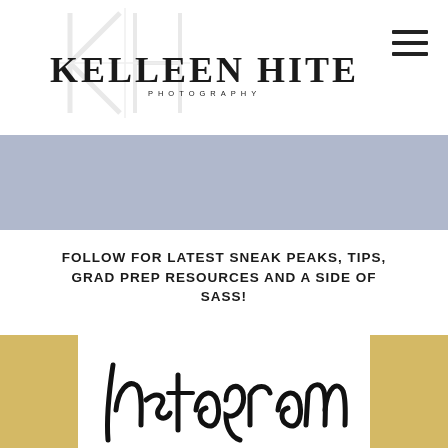[Figure (logo): Kelleen Hite Photography logo with KH monogram watermark in background and bold serif text reading KELLEEN HITE with PHOTOGRAPHY subtitle]
[Figure (other): Hamburger menu icon (three horizontal lines) in top right corner]
[Figure (other): Lavender/slate blue horizontal banner strip]
FOLLOW FOR LATEST SNEAK PEAKS, TIPS, GRAD PREP RESOURCES AND A SIDE OF SASS!
[Figure (illustration): Instagram script lettering in brush calligraphy style, partially visible at bottom, with gold/yellow side blocks flanking it]